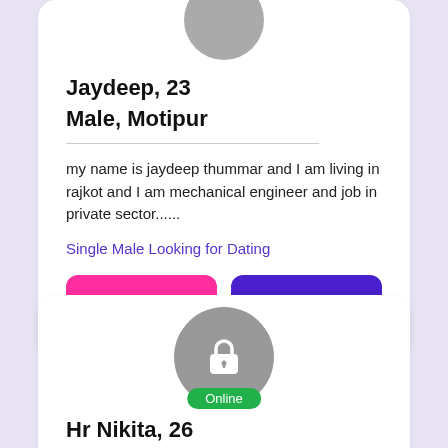[Figure (photo): Gray circular avatar placeholder at top of profile card]
Jaydeep, 23
Male, Motipur
my name is jaydeep thummar and I am living in rajkot and I am mechanical engineer and job in private sector......
Single Male Looking for Dating
View Profile
Chat Now
[Figure (photo): Gray circular avatar with lock icon and green Online badge]
Hr Nikita, 26